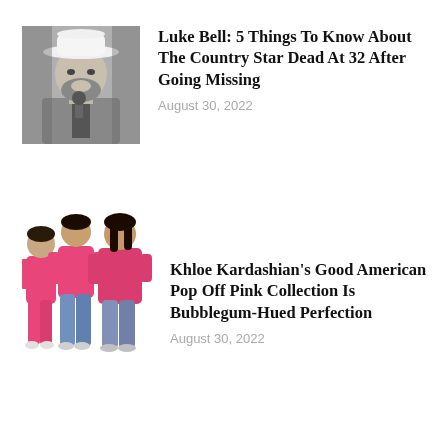[Figure (photo): Black and white photo of Luke Bell, a man wearing a white cowboy hat, singing into a microphone with a beard]
Luke Bell: 5 Things To Know About The Country Star Dead At 32 After Going Missing
August 30, 2022
[Figure (photo): Three women in pink outfits from the Good American Pop Off Pink Collection, wearing pink tops and jeans or pink pants]
Khloe Kardashian's Good American Pop Off Pink Collection Is Bubblegum-Hued Perfection
August 30, 2022